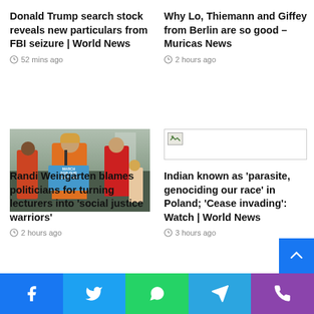Donald Trump search stock reveals new particulars from FBI seizure | World News
52 mins ago
Why Lo, Thiemann and Giffey from Berlin are so good – Muricas News
2 hours ago
[Figure (photo): Photo of people at a March For Our Lives rally, with a woman speaking at a podium holding a sign.]
Randi Weingarten blames politicians for turning lecturers into 'social justice warriors'
2 hours ago
[Figure (photo): Broken/missing image placeholder]
Indian known as 'parasite, genociding our race' in Poland; 'Cease invading': Watch | World News
3 hours ago